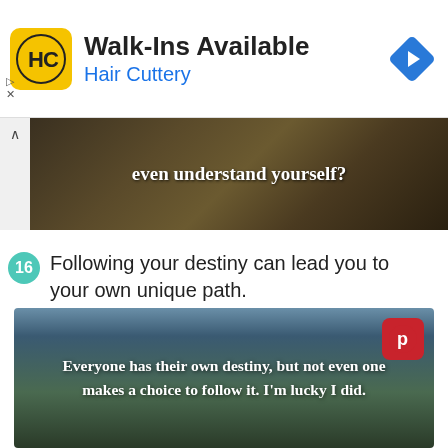[Figure (screenshot): Hair Cuttery ad banner with logo, 'Walk-Ins Available' title, blue subtitle 'Hair Cuttery', and blue navigation diamond icon]
[Figure (photo): Dark moody background image with white bold text 'even understand yourself?']
16  Following your destiny can lead you to your own unique path.
[Figure (photo): Dark road/nature background image with white bold text quote: 'Everyone has their own destiny, but not even one makes a choice to follow it. I'm lucky I did.' Pinterest icon in top right corner.]